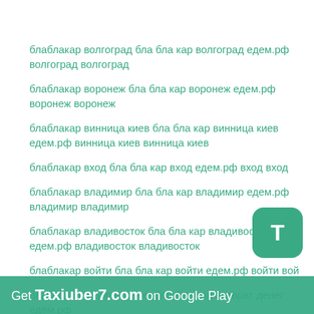блаблакар волгоград бла бла кар волгоград едем.рф волгоград волгоград
блаблакар воронеж бла бла кар воронеж едем.рф воронеж воронеж
блаблакар винница киев бла бла кар винница киев едем.рф винница киев винница киев
блаблакар вход бла бла кар вход едем.рф вход вход
блаблакар владимир бла бла кар владимир едем.рф владимир владимир
блаблакар владивосток бла бла кар владивосток едем.рф владивосток владивосток
блаблакар войти бла бла кар войти едем.рф войти вой...
блаблакар возврат денег бла бла кар возврат денег едем.рф возврат денег возврат денег
[Figure (screenshot): Green T button overlay in bottom right corner]
Get Taxiuber7.com on Google Play